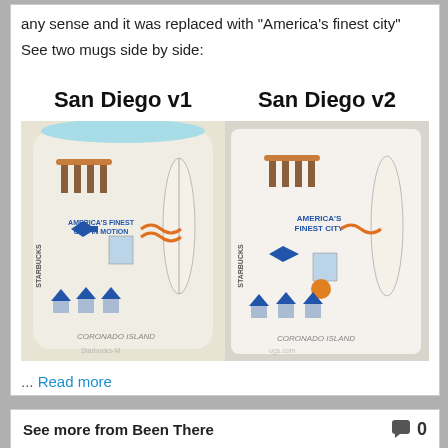any sense and it was replaced with "America's finest city"
See two mugs side by side:
San Diego v1
San Diego v2
[Figure (photo): Two Starbucks Been There San Diego mugs side by side. Left mug (v1) shows 'AMERICA'S FINEST CITY IN MOTION' text with illustrations of a bridge, jet fighter, buildings, surfboards and Coronado Island. Right mug (v2) shows 'AMERICA'S FINEST CITY' with similar illustrations. Watermark 'Starbucks-Mugs.com' across the bottom.]
... Read more
See more from Been There
0